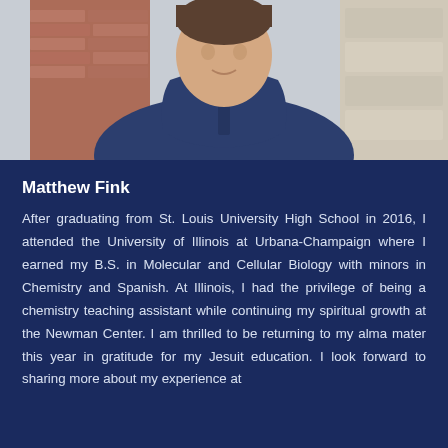[Figure (photo): Photo of Matthew Fink, a young man wearing a navy blue hoodie, photographed outdoors with a brick wall visible in the background.]
Matthew Fink
After graduating from St. Louis University High School in 2016, I attended the University of Illinois at Urbana-Champaign where I earned my B.S. in Molecular and Cellular Biology with minors in Chemistry and Spanish. At Illinois, I had the privilege of being a chemistry teaching assistant while continuing my spiritual growth at the Newman Center. I am thrilled to be returning to my alma mater this year in gratitude for my Jesuit education. I look forward to sharing more about my experience at...